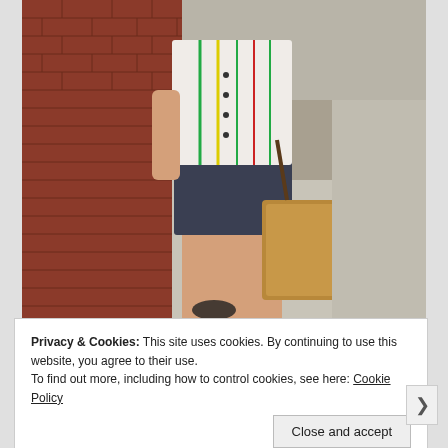[Figure (photo): A woman walking on a sidewalk next to a red brick wall, wearing a white sleeveless button-up shirt with colorful vertical stripes (green, yellow, red), a dark navy mini skirt, black flip-flops, and carrying a large tan/brown canvas tote bag with dark brown leather straps. The sidewalk and street are visible in the background.]
Privacy & Cookies: This site uses cookies. By continuing to use this website, you agree to their use.
To find out more, including how to control cookies, see here: Cookie Policy
Close and accept